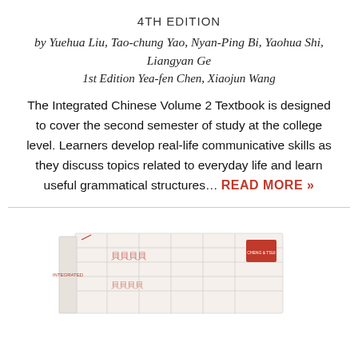4TH EDITION
by Yuehua Liu, Tao-chung Yao, Nyan-Ping Bi, Yaohua Shi, Liangyan Ge
1st Edition Yea-fen Chen, Xiaojun Wang
The Integrated Chinese Volume 2 Textbook is designed to cover the second semester of study at the college level. Learners develop real-life communicative skills as they discuss topics related to everyday life and learn useful grammatical structures... READ MORE »
[Figure (photo): Photo of the Integrated Chinese textbook, showing the book cover with a grid/character practice design and red Cheng & Tsui logo, lying at an angle.]